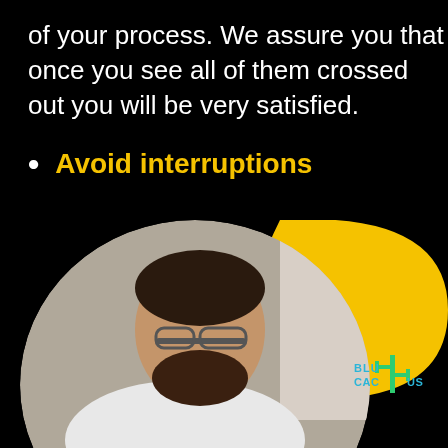of your process. We assure you that once you see all of them crossed out you will be very satisfied.
Avoid interruptions
[Figure (photo): A man with glasses and a beard wearing a white shirt, sitting and looking downward, photographed near a window. There is a yellow teardrop/swoosh decorative shape in the upper right of the image, and a BluCactus logo in the lower right of the yellow shape.]